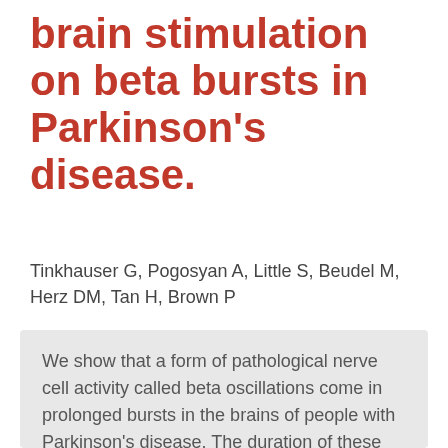brain stimulation on beta bursts in Parkinson's disease.
Tinkhauser G, Pogosyan A, Little S, Beudel M, Herz DM, Tan H, Brown P
We show that a form of pathological nerve cell activity called beta oscillations come in prolonged bursts in the brains of people with Parkinson's disease. The duration of these 'beta bursts' is important because more nerve cells are recruited into them over time. A new type